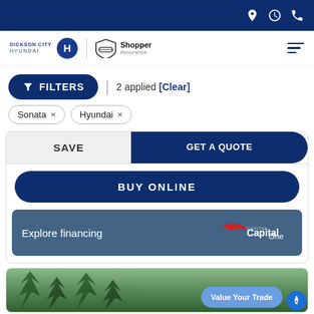Dickson City Hyundai — navigation bar with icons for location, hours, phone
[Figure (logo): Dickson City Hyundai logo with Hyundai H emblem and Shopper Assurance badge]
FILTERS | 2 applied [Clear]
Sonata ×
Hyundai ×
SAVE
GET A QUOTE
BUY ONLINE
Explore financing
[Figure (logo): Capital One logo in white on teal background]
Value Your Trade